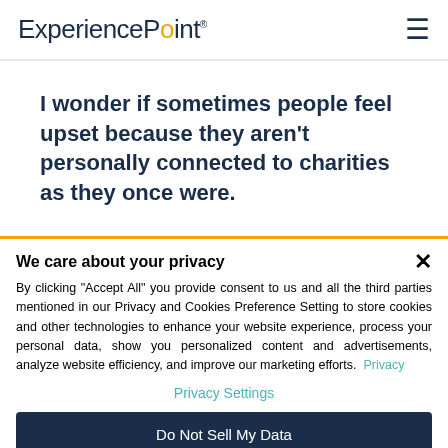ExperiencePoint
I wonder if sometimes people feel upset because they aren't personally connected to charities as they once were.
We care about your privacy
By clicking "Accept All" you provide consent to us and all the third parties mentioned in our Privacy and Cookies Preference Setting to store cookies and other technologies to enhance your website experience, process your personal data, show you personalized content and advertisements, analyze website efficiency, and improve our marketing efforts. Privacy
Privacy Settings
Do Not Sell My Data
Accept All